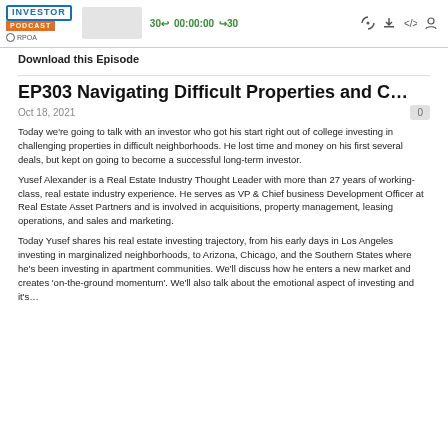[Figure (screenshot): Podcast player UI with Investor Podcast and RPOA logos, a thumbnail image, playback controls showing '30← 00:00:00 →30', and icons for subscribe, download, embed, and user.]
Download this Episode
EP303 Navigating Difficult Properties and C…
Oct 18, 2021
Today we're going to talk with an investor who got his start right out of college investing in challenging properties in difficult neighborhoods.  He lost time and money on his first several deals, but kept on going to become a successful long-term investor.
Yusef Alexander is a Real Estate Industry Thought Leader with more than 27 years of working-class, real estate industry experience.  He serves as VP & Chief business Development Officer at Real Estate Asset Partners and is involved in acquisitions, property management, leasing operations, and sales and marketing.
Today Yusef shares his real estate investing trajectory, from his early days in Los Angeles investing in marginalized neighborhoods, to Arizona, Chicago, and the Southern States where he's been investing in apartment communities.  We'll discuss how he enters a new market and creates 'on-the-ground momentum'.  We'll also talk about the emotional aspect of investing and it's…